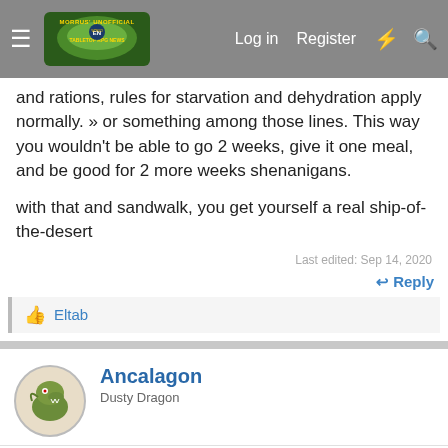Morrus' Unofficial Tabletop RPG News — Log in | Register
and rations, rules for starvation and dehydration apply normally. » or something among those lines. This way you wouldn't be able to go 2 weeks, give it one meal, and be good for 2 more weeks shenanigans.
with that and sandwalk, you get yourself a real ship-of-the-desert
Last edited: Sep 14, 2020
Reply
Eltab
Ancalagon
Dusty Dragon
Sep 14, 2020
#19